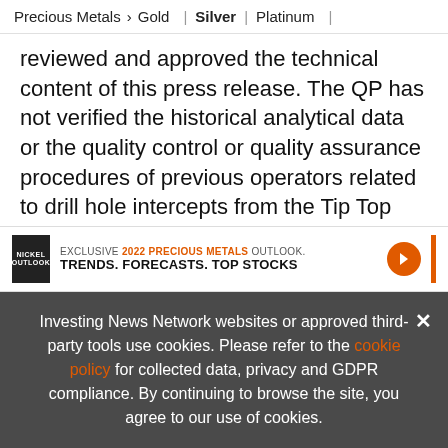Precious Metals > Gold | Silver | Platinum |
reviewed and approved the technical content of this press release. The QP has not verified the historical analytical data or the quality control or quality assurance procedures of previous operators related to drill hole intercepts from the Tip Top Gold project. The mineralized intervals reported are drilled intercepts and true widths can not be determined at this time.
[Figure (infographic): Ad banner: EXCLUSIVE 2022 PRECIOUS METALS OUTLOOK. TRENDS. FORECASTS. TOP STOCKS. with book image and orange arrow button.]
Investing News Network websites or approved third-party tools use cookies. Please refer to the cookie policy for collected data, privacy and GDPR compliance. By continuing to browse the site, you agree to our use of cookies.